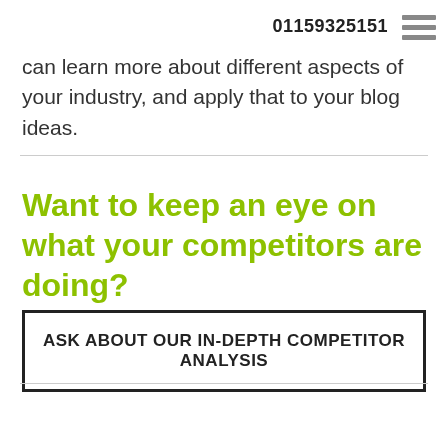01159325151
can learn more about different aspects of your industry, and apply that to your blog ideas.
Want to keep an eye on what your competitors are doing?
ASK ABOUT OUR IN-DEPTH COMPETITOR ANALYSIS